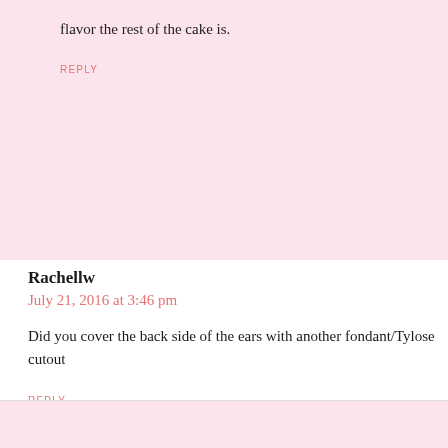flavor the rest of the cake is.
REPLY
Rachellw
July 21, 2016 at 3:46 pm
Did you cover the back side of the ears with another fondant/Tylose cutout
REPLY